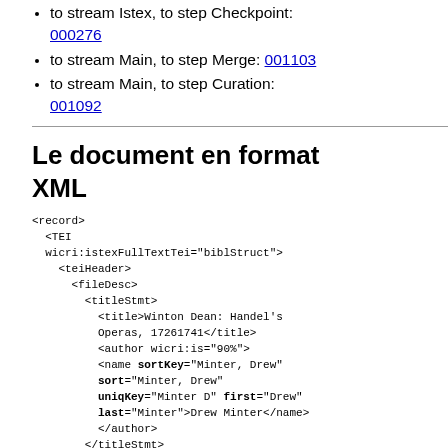to stream Istex, to step Checkpoint: 000276
to stream Main, to step Merge: 001103
to stream Main, to step Curation: 001092
Le document en format XML
<record>
  <TEI wicri:istexFullTextTei="biblStruct">
    <teiHeader>
      <fileDesc>
        <titleStmt>
          <title>Winton Dean: Handel's Operas, 17261741</title>
          <author wicri:is="90%">
            <name sortKey="Minter, Drew" sort="Minter, Drew" uniqKey="Minter D" first="Drew" last="Minter">Drew Minter</name>
          </author>
        </titleStmt>
        <publicationStmt>